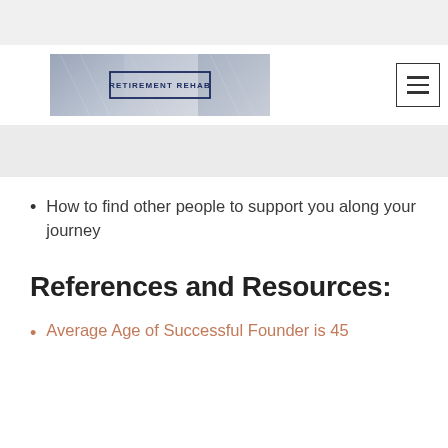[Figure (logo): Retirement Rehab website header logo with background image of buildings/city and text 'RETIREMENT REHAB' in a rectangular border, plus hamburger menu icon]
How to find other people to support you along your journey
References and Resources:
Average Age of Successful Founder is 45